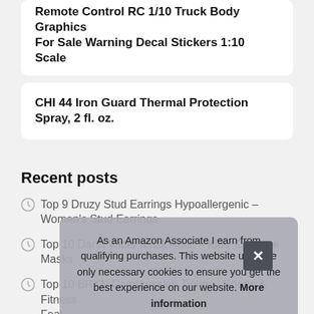Remote Control RC 1/10 Truck Body Graphics For Sale Warning Decal Stickers 1:10 Scale
CHI 44 Iron Guard Thermal Protection Spray, 2 fl. oz.
Recent posts
Top 9 Druzy Stud Earrings Hypoallergenic – Women's Stud Earrings
Top 10 Darth Vader Mask Adult – Kids' Costume Masks
Top 10 BRKN Compression Tights – Sports & Fitness Feat
T... Card
Top 9 Drop Waist Dress 5t – Women's Cocktail Dresses
As an Amazon Associate I earn from qualifying purchases. This website uses the only necessary cookies to ensure you get the best experience on our website. More information